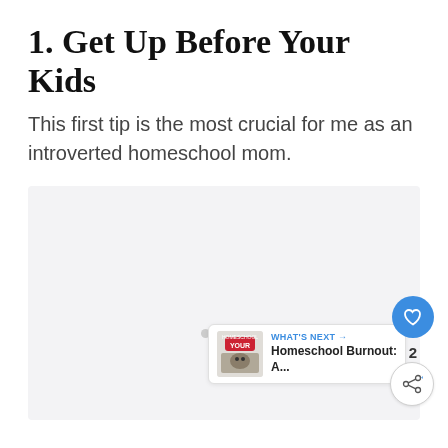1. Get Up Before Your Kids
This first tip is the most crucial for me as an introverted homeschool mom.
[Figure (other): Large light gray placeholder area representing an image that has not loaded, with three small gray loading dots centered near the middle-bottom of the box.]